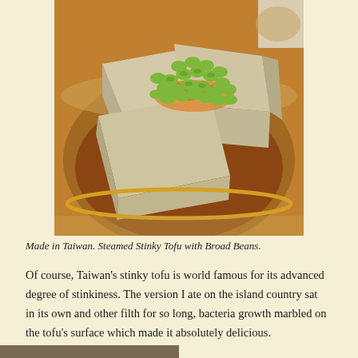[Figure (photo): Photo of steamed stinky tofu pieces in a metal bowl filled with brown broth, topped with green edamame/broad beans and orange sauce drizzle. Another dish visible in upper right corner.]
Made in Taiwan. Steamed Stinky Tofu with Broad Beans.
Of course, Taiwan's stinky tofu is world famous for its advanced degree of stinkiness. The version I ate on the island country sat in its own and other filth for so long, bacteria growth marbled on the tofu's surface which made it absolutely delicious.
[Figure (photo): Partially visible photo at the bottom of the page.]